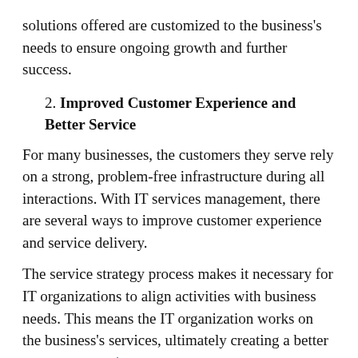solutions offered are customized to the business's needs to ensure ongoing growth and further success.
2. Improved Customer Experience and Better Service
For many businesses, the customers they serve rely on a strong, problem-free infrastructure during all interactions. With IT services management, there are several ways to improve customer experience and service delivery.
The service strategy process makes it necessary for IT organizations to align activities with business needs. This means the IT organization works on the business's services, ultimately creating a better customer experience.